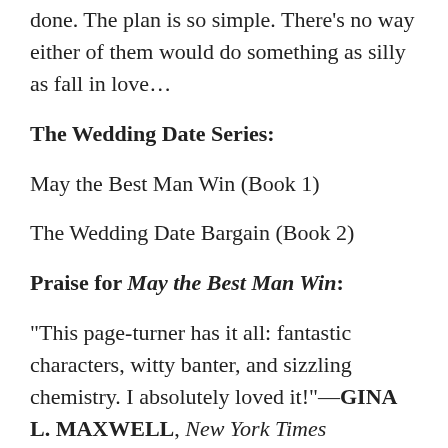done. The plan is so simple. There's no way either of them would do something as silly as fall in love…
The Wedding Date Series:
May the Best Man Win (Book 1)
The Wedding Date Bargain (Book 2)
Praise for May the Best Man Win:
"This page-turner has it all: fantastic characters, witty banter, and sizzling chemistry. I absolutely loved it!"—GINA L. MAXWELL, New York Times bestselling author of the Playboys in Love series
"Outstanding writing, impressive